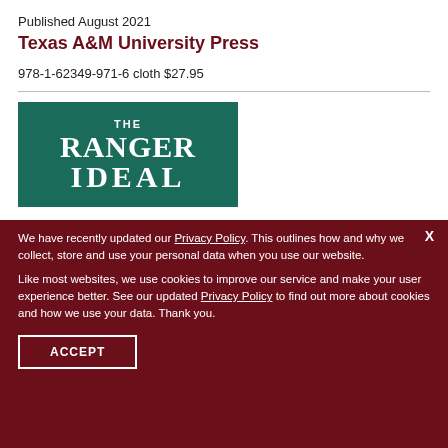Published August 2021
Texas A&M University Press
978-1-62349-971-6 cloth $27.95
[Figure (illustration): Book cover showing 'THE RANGER IDEAL' text on a teal/dark green background]
We have recently updated our Privacy Policy. This outlines how and why we collect, store and use your personal data when you use our website.

Like most websites, we use cookies to improve our service and make your user experience better. See our updated Privacy Policy to find out more about cookies and how we use your data. Thank you.
ACCEPT